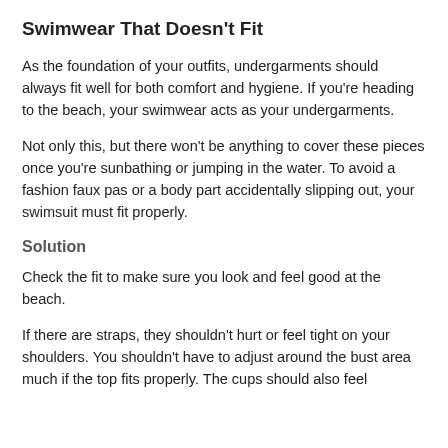Swimwear That Doesn't Fit
As the foundation of your outfits, undergarments should always fit well for both comfort and hygiene. If you're heading to the beach, your swimwear acts as your undergarments.
Not only this, but there won't be anything to cover these pieces once you're sunbathing or jumping in the water. To avoid a fashion faux pas or a body part accidentally slipping out, your swimsuit must fit properly.
Solution
Check the fit to make sure you look and feel good at the beach.
If there are straps, they shouldn't hurt or feel tight on your shoulders. You shouldn't have to adjust around the bust area much if the top fits properly. The cups should also feel